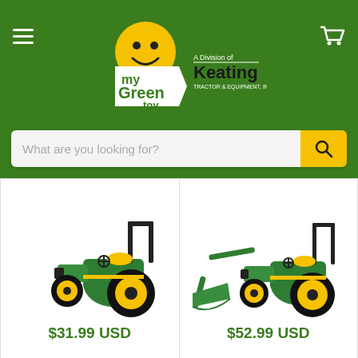myGreentoy — A Division of Keating Tractor & Equipment Inc.
What are you looking for?
[Figure (photo): Green John Deere compact tractor toy model with yellow wheels, no loader attachment]
$31.99 USD
[Figure (photo): Green John Deere compact tractor toy model with yellow wheels and front loader bucket attachment]
$52.99 USD